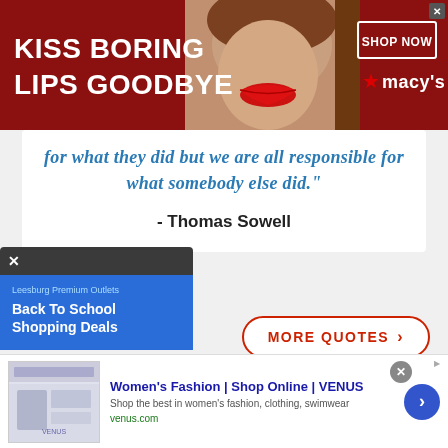[Figure (photo): Top advertisement banner: dark red background with text 'KISS BORING LIPS GOODBYE', woman's face with red lips in center, 'SHOP NOW' button and Macy's logo on right]
for what they did but we are all responsible for what somebody else did."
- Thomas Sowell
[Figure (other): 'MORE QUOTES >' button with red rounded-rectangle border]
[Figure (other): Ad popup: Leesburg Premium Outlets - Back To School Shopping Deals]
[Figure (screenshot): Bottom ad bar: Women's Fashion | Shop Online | VENUS - Shop the best in women's fashion, clothing, swimwear - venus.com]